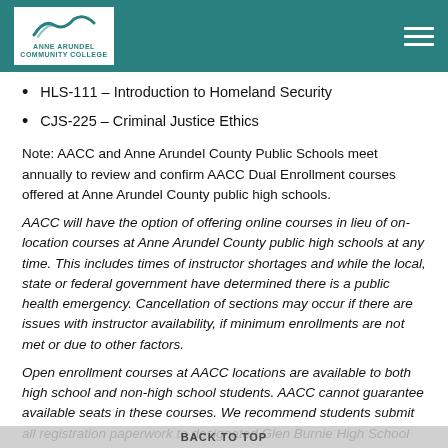Anne Arundel Community College
HLS-111 – Introduction to Homeland Security
CJS-225 – Criminal Justice Ethics
Note: AACC and Anne Arundel County Public Schools meet annually to review and confirm AACC Dual Enrollment courses offered at Anne Arundel County public high schools.
AACC will have the option of offering online courses in lieu of on-location courses at Anne Arundel County public high schools at any time. This includes times of instructor shortages and while the local, state or federal government have determined there is a public health emergency. Cancellation of sections may occur if there are issues with instructor availability, if minimum enrollments are not met or due to other factors.
Open enrollment courses at AACC locations are available to both high school and non-high school students. AACC cannot guarantee available seats in these courses. We recommend students submit all registration paperwork to designated Glen Burnie High School personnel prior to the first day of registration.